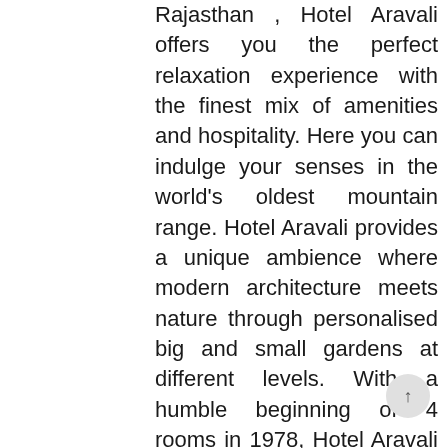Rajasthan , Hotel Aravali offers you the perfect relaxation experience with the finest mix of amenities and hospitality. Here you can indulge your senses in the world's oldest mountain range. Hotel Aravali provides a unique ambience where modern architecture meets nature through personalised big and small gardens at different levels. With a humble beginning of 4 rooms in 1978, Hotel Aravali now provides 12 villas and 20 rooms. Situated at different levels of a hill to enhance the feeling of being part of the Aravalis. The distinct architecture breaks the traditional separation between open and closed spaces, creating an intimate relaxation experience for the guests.